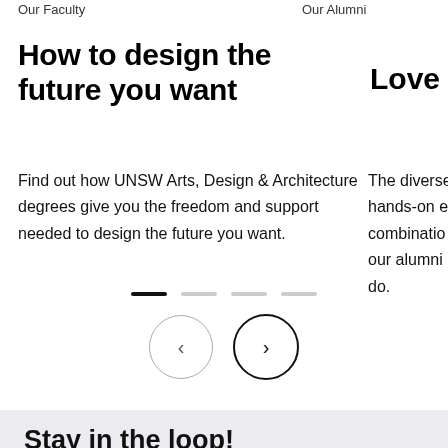Our Faculty
Our Alumni
How to design the future you want
Love w
Find out how UNSW Arts, Design & Architecture degrees give you the freedom and support needed to design the future you want.
The diverse hands-on ex combination our alumni do.
[Figure (other): Carousel navigation: four horizontal dash indicators (first active/dark, three inactive/grey) and two circular arrow buttons (left arrow and right arrow)]
Stay in the loop!
Sign up and we'll keep you updated on